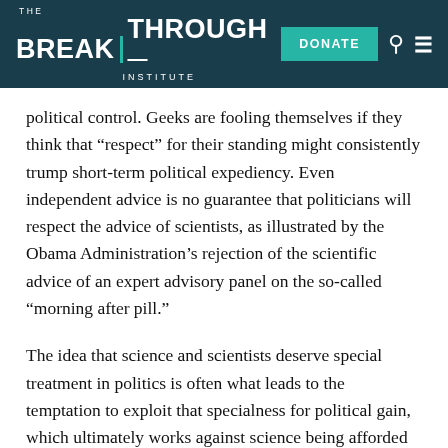THE BREAKTHROUGH INSTITUTE | DONATE
political control. Geeks are fooling themselves if they think that “respect” for their standing might consistently trump short-term political expediency. Even independent advice is no guarantee that politicians will respect the advice of scientists, as illustrated by the Obama Administration’s rejection of the scientific advice of an expert advisory panel on the so-called “morning after pill.”
The idea that science and scientists deserve special treatment in politics is often what leads to the temptation to exploit that specialness for political gain, which ultimately works against science being afforded special treatment. In this manner, calls for a “geek